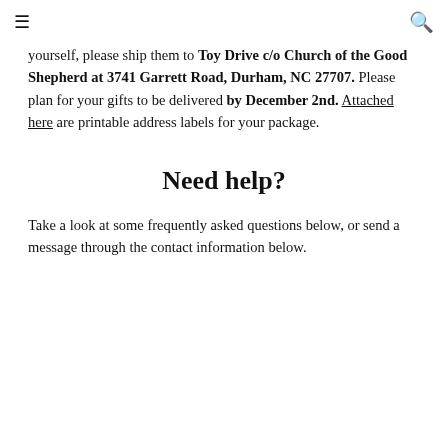≡  🔍
yourself, please ship them to Toy Drive c/o Church of the Good Shepherd at 3741 Garrett Road, Durham, NC 27707. Please plan for your gifts to be delivered by December 2nd. Attached here are printable address labels for your package.
Need help?
Take a look at some frequently asked questions below, or send a message through the contact information below.